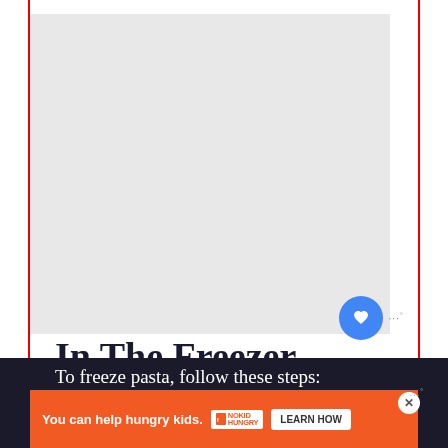[Figure (photo): Large light gray placeholder image area representing a food/recipe photo]
In The Freezer
[Figure (infographic): Blue circle heart/like button with dot count indicator next to it]
[Figure (infographic): White circle share button]
[Figure (infographic): What's Next promo block showing egg dish thumbnail with headline 'How much do eggs cost at...']
To freeze pasta, follow these steps:
[Figure (infographic): Orange advertisement banner: 'You can help hungry kids. No Kid Hungry. LEARN HOW' with close button]